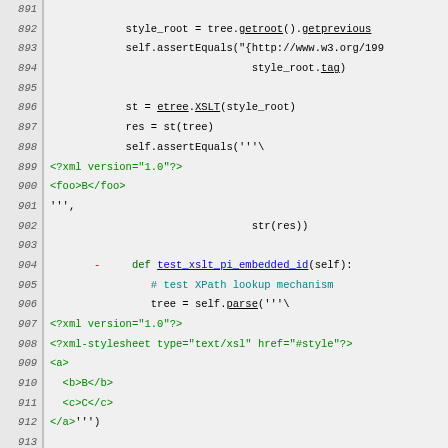[Figure (screenshot): Source code listing showing Python test methods for XSLT processing with line numbers 891-920. Lines show style_root assignment, assertEquals calls, etree.XSLT usage, and a test_xslt_pi_embedded_id method definition with XML parse calls.]